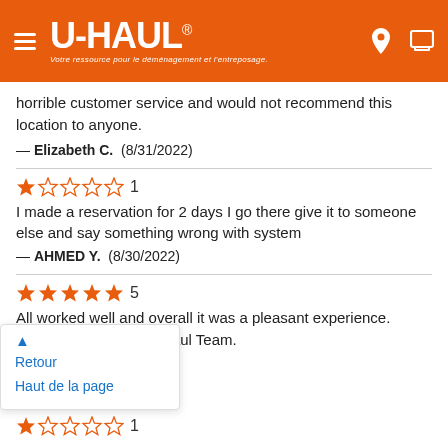[Figure (logo): U-Haul logo with orange header bar, hamburger menu icon, location pin icon, and shopping cart icon. Tagline: Votre ressource pour le déménagement et l'entreposage.]
horrible customer service and would not recommend this location to anyone.
— Elizabeth C.  (8/31/2022)
★☆☆☆☆ 1
I made a reservation for 2 days I go there give it to someone else and say something wrong with system
— AHMED Y.  (8/30/2022)
★★★★★ 5
All worked well and overall it was a pleasant experience. Thanks to the entire Uhaul Team.
— Feyz... (8/30/2022)
Retour
Haut de la page
★☆☆☆☆ 1